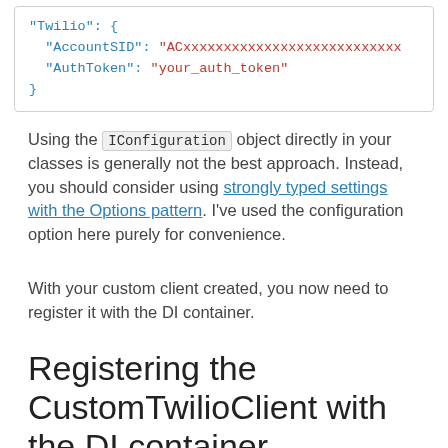[Figure (other): Code block showing JSON configuration with Twilio AccountSID and AuthToken fields]
Using the IConfiguration object directly in your classes is generally not the best approach. Instead, you should consider using strongly typed settings with the Options pattern. I've used the configuration option here purely for convenience.
With your custom client created, you now need to register it with the DI container.
Registering the CustomTwilioClient with the DI container